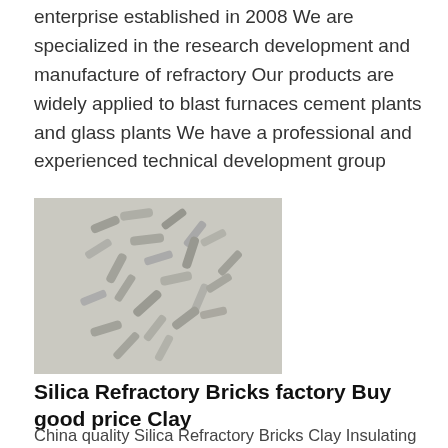enterprise established in 2008 We are specialized in the research development and manufacture of refractory Our products are widely applied to blast furnaces cement plants and glass plants We have a professional and experienced technical development group
[Figure (photo): Scattered small elongated grey/white refractory mineral fragments on a light grey background]
Silica Refractory Bricks factory Buy good price Clay
China quality Silica Refractory Bricks Clay Insulating Brick supplier and Good price Silica Refractory Bricks for sale online
[Figure (photo): Partially visible round refractory brick or ball on light background]